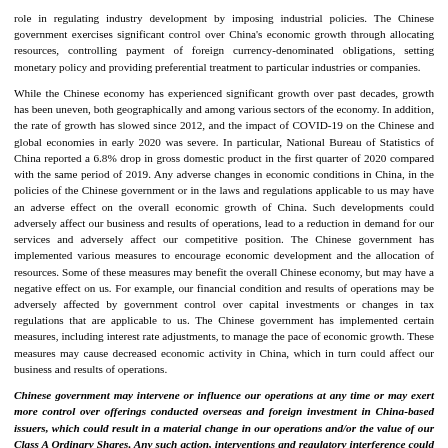role in regulating industry development by imposing industrial policies. The Chinese government exercises significant control over China's economic growth through allocating resources, controlling payment of foreign currency-denominated obligations, setting monetary policy and providing preferential treatment to particular industries or companies.
While the Chinese economy has experienced significant growth over past decades, growth has been uneven, both geographically and among various sectors of the economy. In addition, the rate of growth has slowed since 2012, and the impact of COVID-19 on the Chinese and global economies in early 2020 was severe. In particular, National Bureau of Statistics of China reported a 6.8% drop in gross domestic product in the first quarter of 2020 compared with the same period of 2019. Any adverse changes in economic conditions in China, in the policies of the Chinese government or in the laws and regulations applicable to us may have an adverse effect on the overall economic growth of China. Such developments could adversely affect our business and results of operations, lead to a reduction in demand for our services and adversely affect our competitive position. The Chinese government has implemented various measures to encourage economic development and the allocation of resources. Some of these measures may benefit the overall Chinese economy, but may have a negative effect on us. For example, our financial condition and results of operations may be adversely affected by government control over capital investments or changes in tax regulations that are applicable to us. The Chinese government has implemented certain measures, including interest rate adjustments, to manage the pace of economic growth. These measures may cause decreased economic activity in China, which in turn could affect our business and results of operations.
Chinese government may intervene or influence our operations at any time or may exert more control over offerings conducted overseas and foreign investment in China-based issuers, which could result in a material change in our operations and/or the value of our Class A Ordinary Shares. Any such action, interventions and regulatory interference could significantly limit or completely hinder our ability to offer or continue to offer securities to investors and cause the value of such securities to significantly decline.
Our business is subject to governmental supervision and regulation by the